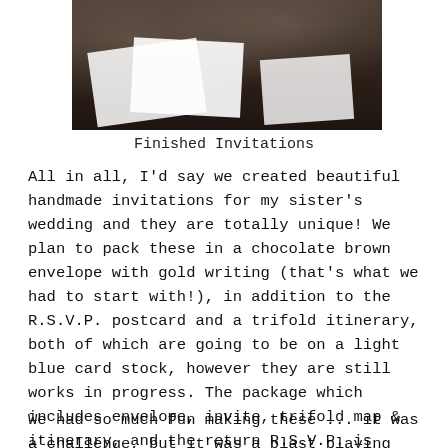[Figure (photo): Photo of finished handmade wedding invitations on a dark wooden table, showing white paper cards/invitations laid out with what appears to be a wax seal or stamp.]
Finished Invitations
All in all, I'd say we created beautiful handmade invitations for my sister's wedding and they are totally unique! We plan to pack these in a chocolate brown envelope with gold writing (that's what we had to start with!), in addition to the R.S.V.P. postcard and a trifold itinerary, both of which are going to be on a light blue card stock, however they are still works in progress. The package which includes envelope, invite, trifold map & itinerary, and the return R.S.V.P. is under one dollar sans postage!
We had so much fun making these ... it was a challenge, but it was a blast playing convener belt. We